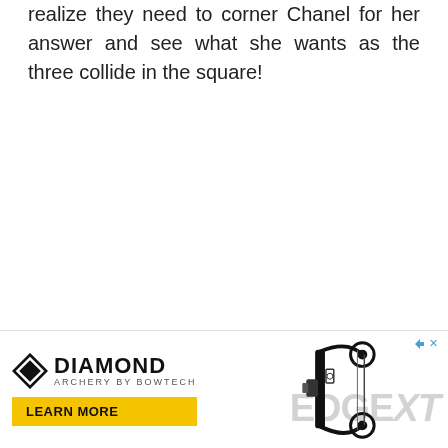realize they need to corner Chanel for her answer and see what she wants as the three collide in the square!
[Figure (other): Advertisement banner for Diamond Archery featuring the Edge XT compound bow. Includes the Diamond Archery logo, an image of a compound bow, the text 'EDGE XT', and a 'LEARN MORE' button.]